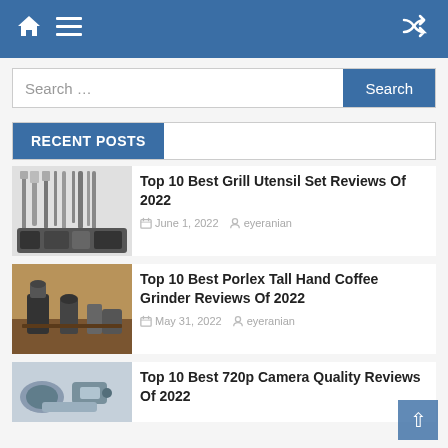Navigation bar with home icon, menu icon, and shuffle icon
Search ...
RECENT POSTS
[Figure (photo): Grill utensil set with various BBQ tools and accessories on white background]
Top 10 Best Grill Utensil Set Reviews Of 2022
June 1, 2022   eyeranian
[Figure (photo): Coffee grinder and brewing equipment on wooden table]
Top 10 Best Porlex Tall Hand Coffee Grinder Reviews Of 2022
May 31, 2022   eyeranian
[Figure (photo): Person lying down holding a camera, with a fan in background]
Top 10 Best 720p Camera Quality Reviews Of 2022